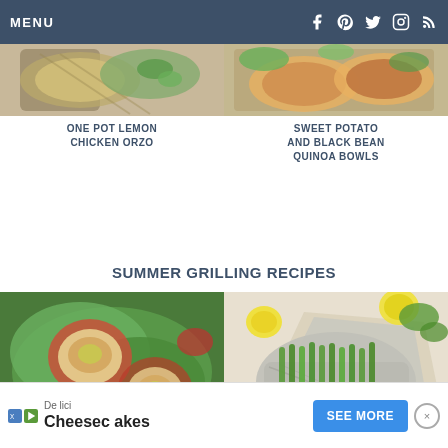MENU
[Figure (photo): Top view of one pot lemon chicken orzo dish in a pan]
ONE POT LEMON CHICKEN ORZO
[Figure (photo): Top view of sweet potato and black bean quinoa bowls]
SWEET POTATO AND BLACK BEAN QUINOA BOWLS
SUMMER GRILLING RECIPES
[Figure (photo): Close-up of a burger with red onion rings, pickles, and lettuce]
[Figure (photo): Grilled asparagus in aluminum foil with lemon slices]
Delici Cheesecakes SEE MORE